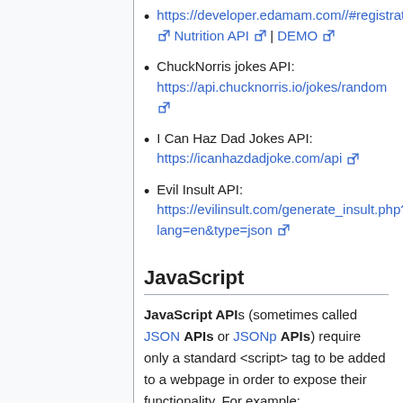ChuckNorris jokes API: https://api.chucknorris.io/jokes/random
I Can Haz Dad Jokes API: https://icanhazdadjoke.com/api
Evil Insult API: https://evilinsult.com/generate_insult.php?lang=en&type=json
JavaScript
JavaScript APIs (sometimes called JSON APIs or JSONp APIs) require only a standard <script> tag to be added to a webpage in order to expose their functionality. For example: